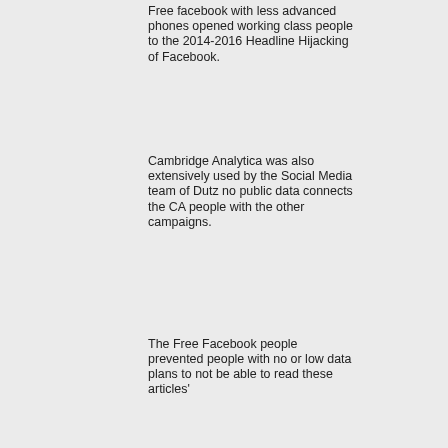Free facebook with less advanced phones opened working class people to the 2014-2016 Headline Hijacking of Facebook.
Cambridge Analytica was also extensively used by the Social Media team of Dutz no public data connects the CA people with the other campaigns.
The Free Facebook people prevented people with no or low data plans to not be able to read these articles'